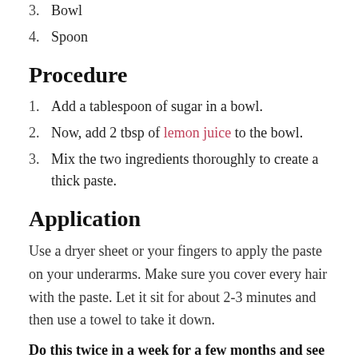3. Bowl
4. Spoon
Procedure
1. Add a tablespoon of sugar in a bowl.
2. Now, add 2 tbsp of lemon juice to the bowl.
3. Mix the two ingredients thoroughly to create a thick paste.
Application
Use a dryer sheet or your fingers to apply the paste on your underarms. Make sure you cover every hair with the paste. Let it sit for about 2-3 minutes and then use a towel to take it down.
Do this twice in a week for a few months and see the magic happen!